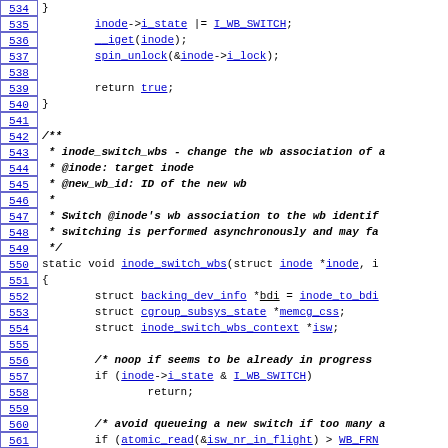Source code listing lines 534-564, C kernel code for inode_switch_wbs function